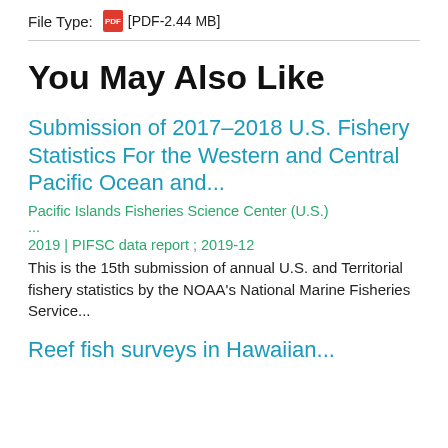File Type: [PDF-2.44 MB]
You May Also Like
Submission of 2017–2018 U.S. Fishery Statistics For the Western and Central Pacific Ocean and...
Pacific Islands Fisheries Science Center (U.S.)
...
2019 | PIFSC data report ; 2019-12
This is the 15th submission of annual U.S. and Territorial fishery statistics by the NOAA's National Marine Fisheries Service...
Reef fish surveys in Hawaiian...